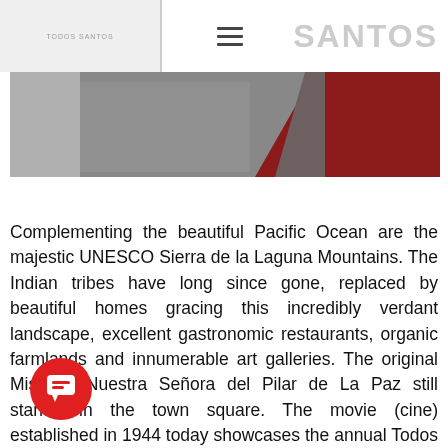SANTOS
[Figure (photo): A grayscale and dark red/maroon abstract or landscape photo used as a hero banner image at the top of the page.]
Complementing the beautiful Pacific Ocean are the majestic UNESCO Sierra de la Laguna Mountains. The Indian tribes have long since gone, replaced by beautiful homes gracing this incredibly verdant landscape, excellent gastronomic restaurants, organic farmlands and innumerable art galleries. The original Mission, Nuestra Señora del Pilar de La Paz still stands in the town square. The movie (cine) established in 1944 today showcases the annual Todos Santos Film Festival.